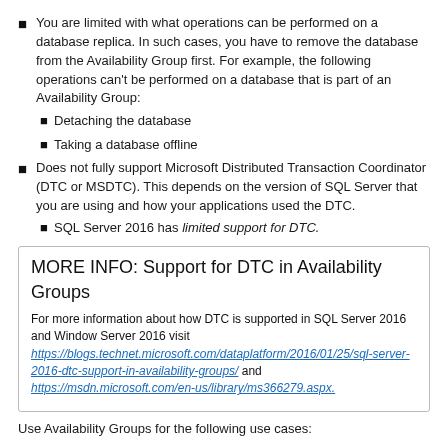You are limited with what operations can be performed on a database replica. In such cases, you have to remove the database from the Availability Group first. For example, the following operations can't be performed on a database that is part of an Availability Group:
Detaching the database
Taking a database offline
Does not fully support Microsoft Distributed Transaction Coordinator (DTC or MSDTC). This depends on the version of SQL Server that you are using and how your applications used the DTC.
SQL Server 2016 has limited support for DTC.
MORE INFO: Support for DTC in Availability Groups

For more information about how DTC is supported in SQL Server 2016 and Window Server 2016 visit https://blogs.technet.microsoft.com/dataplatform/2016/01/25/sql-server-2016-dtc-support-in-availability-groups/ and https://msdn.microsoft.com/en-us/library/ms366279.aspx.
Use Availability Groups for the following use cases: